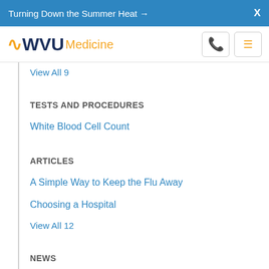Turning Down the Summer Heat →   X
WVU Medicine
View All 9
TESTS AND PROCEDURES
White Blood Cell Count
ARTICLES
A Simple Way to Keep the Flu Away
Choosing a Hospital
View All 12
NEWS
'Deltacron' Variant Rare and Not a Major Concern
1 Dead, 27 Hospitalized in U.S. Salmonella Outbreak